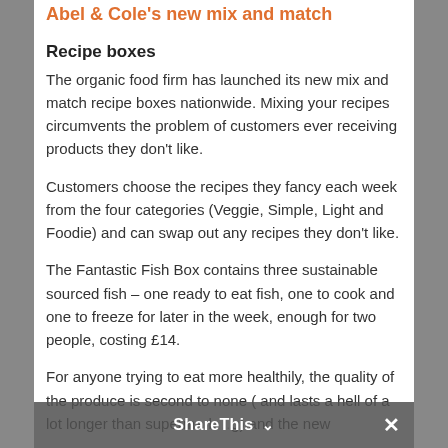Abel & Cole's new mix and match
Recipe boxes
The organic food firm has launched its new mix and match recipe boxes nationwide. Mixing your recipes circumvents the problem of customers ever receiving products they don't like.
Customers choose the recipes they fancy each week from the four categories (Veggie, Simple, Light and Foodie) and can swap out any recipes they don't like.
The Fantastic Fish Box contains three sustainable sourced fish – one ready to eat fish, one to cook and one to freeze for later in the week, enough for two people, costing £14.
For anyone trying to eat more healthily, the quality of the produce is second to none ( and lasts a hell of a lot longer than supermark… g) and the new
ShareThis ×